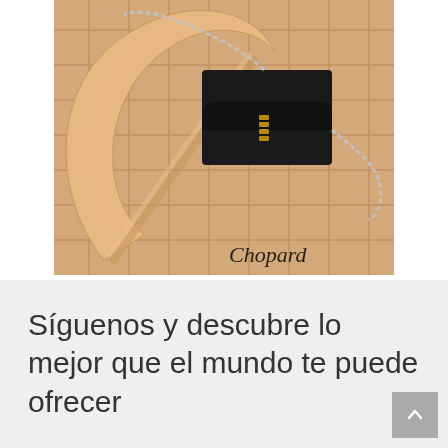[Figure (photo): Chopard luxury black leather handbag with chain strap displayed on a beige woven tile background with the Chopard logo in script in the bottom right corner]
Síguenos y descubre lo mejor que el mundo te puede ofrecer